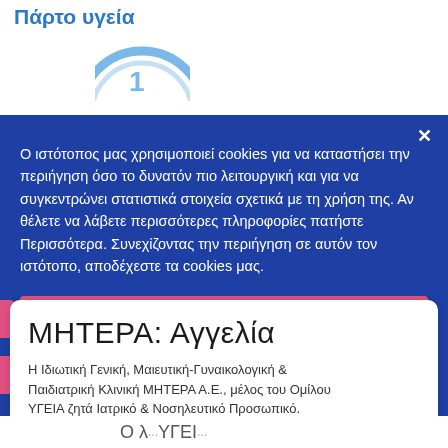Πάρτο υγεία
[Figure (logo): Partial circular logo/icon visible at top]
Ο ιστότοπος μας χρησιμοποιεί cookies για να καταστήσει την περιήγηση όσο το δυνατόν πιο λειτουργική και για να συγκεντρώνει στατιστικά στοιχεία σχετικά με τη χρήση της. Αν θέλετε να λάβετε περισσότερες πληροφορίες πατήστε Περισσότερα. Συνεχίζοντας την περιήγηση σε αυτόν τον ιστότοπο, αποδέχεστε τα cookies μας.
✓ Αποδοχή
ΜΗΤΕΡΑ: Αγγελία
Η Ιδιωτική Γενική, Μαιευτική-Γυναικολογική & Παιδιατρική Κλινική ΜΗΤΕΡΑ Α.Ε., μέλος του Ομίλου ΥΓΕΙΑ ζητά Ιατρικό & Νοσηλευτικό Προσωπικό. Μάθετε περισσότερα..
Ο λ... ΥΓΕΙ...